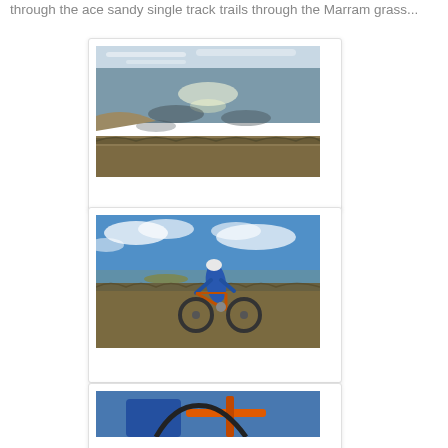through the ace sandy single track trails through the Marram grass...
[Figure (photo): Wide-angle landscape photo of a coastal estuary or tidal flat with shallow water reflecting the sky, sandy banks, and grassy terrain under a partly cloudy sky.]
[Figure (photo): Photo of a mountain biker in a blue jacket and white helmet riding a fat-tire bike along the edge of a coastal estuary or waterway, with grassland and water visible in the background under a blue sky with clouds.]
[Figure (photo): Partial photo showing the top portion of a mountain bike and rider, with blue jacket and orange bike frame visible, partially cut off at the bottom of the page.]